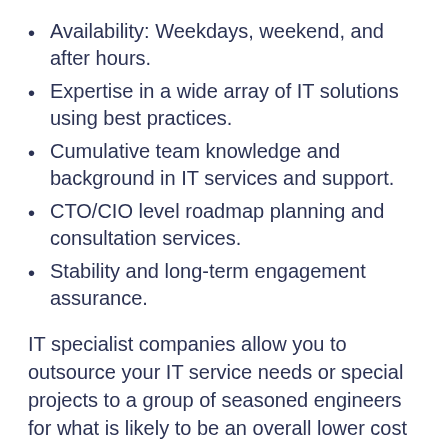Availability: Weekdays, weekend, and after hours.
Expertise in a wide array of IT solutions using best practices.
Cumulative team knowledge and background in IT services and support.
CTO/CIO level roadmap planning and consultation services.
Stability and long-term engagement assurance.
IT specialist companies allow you to outsource your IT service needs or special projects to a group of seasoned engineers for what is likely to be an overall lower cost if the relationship is structured properly. The strategic approach that is in-line with your